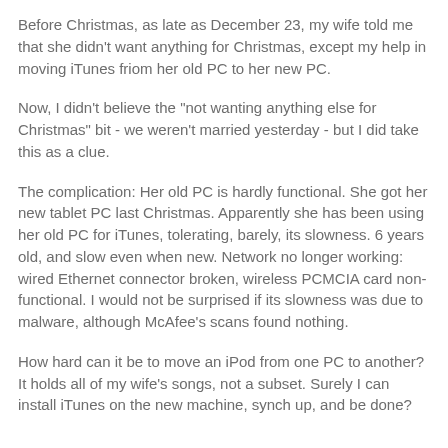Before Christmas, as late as December 23, my wife told me that she didn't want anything for Christmas, except my help in moving iTunes friom her old PC to her new PC.
Now, I didn't believe the "not wanting anything else for Christmas" bit - we weren't married yesterday - but I did take this as a clue.
The complication: Her old PC is hardly functional. She got her new tablet PC last Christmas. Apparently she has been using her old PC for iTunes, tolerating, barely, its slowness. 6 years old, and slow even when new. Network no longer working: wired Ethernet connector broken, wireless PCMCIA card non-functional. I would not be surprised if its slowness was due to malware, although McAfee's scans found nothing.
How hard can it be to move an iPod from one PC to another? It holds all of my wife's songs, not a subset. Surely I can install iTunes on the new machine, synch up, and be done?